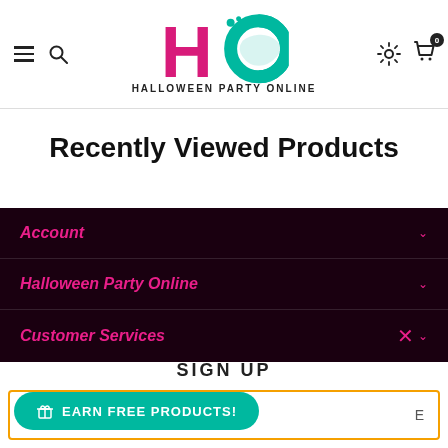[Figure (logo): Halloween Party Online logo with stylized H and circular O in pink and teal, text HALLOWEEN PARTY ONLINE below]
Recently Viewed Products
Account
Halloween Party Online
Customer Services
SIGN UP
EARN FREE PRODUCTS!